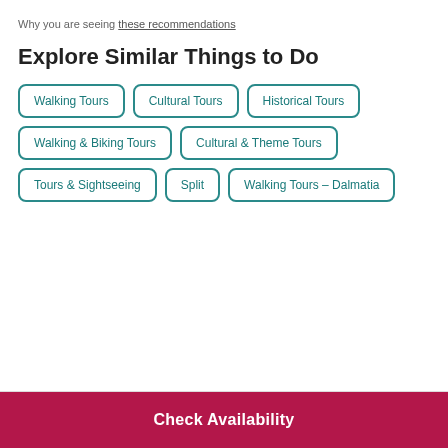Why you are seeing these recommendations
Explore Similar Things to Do
Walking Tours
Cultural Tours
Historical Tours
Walking & Biking Tours
Cultural & Theme Tours
Tours & Sightseeing
Split
Walking Tours – Dalmatia
Check Availability